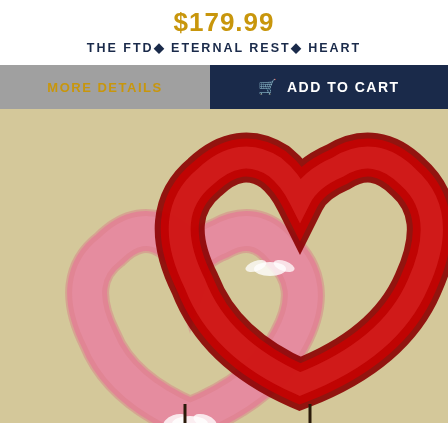$179.99
THE FTD® ETERNAL REST® HEART
MORE DETAILS
ADD TO CART
[Figure (photo): Two floral heart wreaths on stands — one large red carnation heart and one smaller pink rose/carnation heart, arranged overlapping against a cream damask background with ribbon accents]